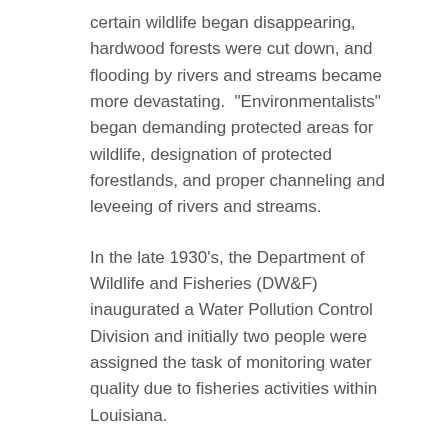certain wildlife began disappearing, hardwood forests were cut down, and flooding by rivers and streams became more devastating.  "Environmentalists" began demanding protected areas for wildlife, designation of protected forestlands, and proper channeling and leveeing of rivers and streams.
In the late 1930's, the Department of Wildlife and Fisheries (DW&F) inaugurated a Water Pollution Control Division and initially two people were assigned the task of monitoring water quality due to fisheries activities within Louisiana.
In the early 1950's, an Air Pollution Division was assigned a role within the Louisiana Department of Health and began functioning with a staff of two people.
The early 1960's saw concerns for radiation control and a Radiation Control Division was created within